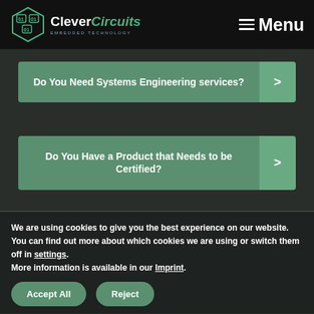CleverCircuits Embedded Technology — Menu
Do You Need Systems Engineering services?
Do You Have a Product that Needs to be Certified?
We are using cookies to give you the best experience on our website.
You can find out more about which cookies we are using or switch them off in settings.
More information is available in our Imprint.
Accept All
Reject